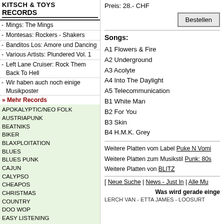KITSCH & TOYS RECORDS
Mings: The Mings
Montesas: Rockers - Shakers
Banditos Los: Amore und Dancing
Various Artists: Plundered Vol. 1
Left Lane Cruiser: Rock Them Back To Hell
Wir haben auch noch einige Musikposter
» Mehr Records
APOKALYPTIC/NEO FOLK
AUSTRIAPUNK
BEATNIKS
BIKER
BLAXPLOITATION
BLUES
BLUES PUNK
CAJUN
CALYPSO
CHEAPOS
CHRISTMAS
COUNTRY
DOO WOP
EASY LISTENING
ELECTRO WAVE PUNK
EXOTICA/STRIP
FREAKBEAT
FRENCH CUTS
FUNK
GIRL GROUPS & GARAGE
GIRLS
GOSPEL
HILLBILLY
HORROR/HALLOWEEN
Preis: 28.- CHF
Bestellen
Songs:
A1 Flowers & Fire
A2 Underground
A3 Acolyte
A4 Into The Daylight
A5 Telecommunication
B1 White Man
B2 For You
B3 Skin
B4 H.M.K. Grey
Weitere Platten vom Label Puke N Vomi...
Weitere Platten zum Musikstil Punk: 80s...
Weitere Platten von BLITZ
[ Neue Suche | News - Just In | Alle Mu...
Was wird gerade einge...
LERCH VAN - ETTA JAMES - LOOSURT...